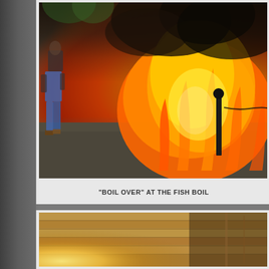[Figure (photo): A dramatic outdoor fish boil cooking event showing a large explosion of orange and yellow flames rising from a cooking vessel. A person in jeans is visible on the left side walking away. A black bollard with chain is visible on the right. The ground is covered in gravel. Dark smoke billows upward.]
"BOIL OVER" AT THE FISH BOIL
[Figure (photo): Interior shot of what appears to be a wooden-ceiling restaurant or fish boil venue. Warm golden light glows from the lower left. Wooden plank ceiling visible. The space appears rustic and lodge-like.]